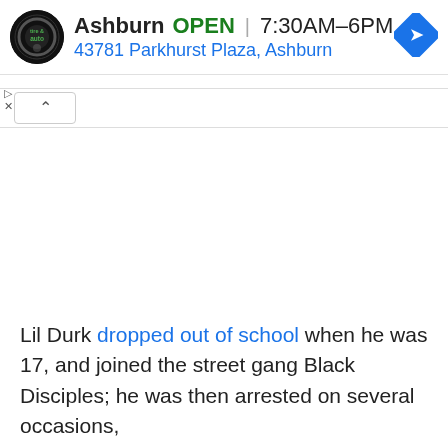[Figure (screenshot): Ad banner for Virginia Tire & Auto Ashburn location showing logo, OPEN status, hours 7:30AM–6PM, address 43781 Parkhurst Plaza Ashburn, and navigation icon]
Lil Durk dropped out of school when he was 17, and joined the street gang Black Disciples; he was then arrested on several occasions,